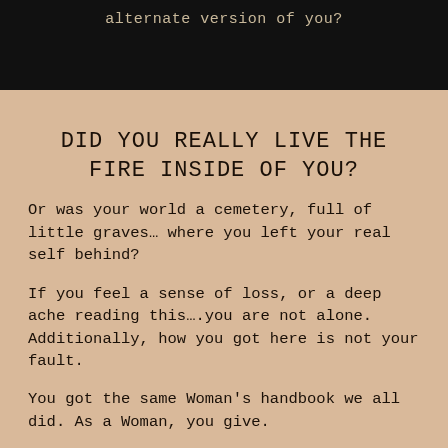alternate version of you?
DID YOU REALLY LIVE THE FIRE INSIDE OF YOU?
Or was your world a cemetery, full of little graves… where you left your real self behind?
If you feel a sense of loss, or a deep ache reading this….you are not alone. Additionally, how you got here is not your fault.
You got the same Woman's handbook we all did. As a Woman, you give.
And as an ever-giving dwoman, you got shit done